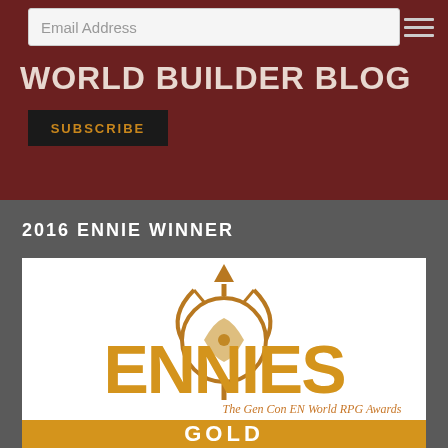Email Address
WORLD BUILDER BLOG
SUBSCRIBE
2016 ENNIE WINNER
[Figure (logo): ENNIEs award logo — The Gen Con EN World RPG Awards — GOLD 2016]